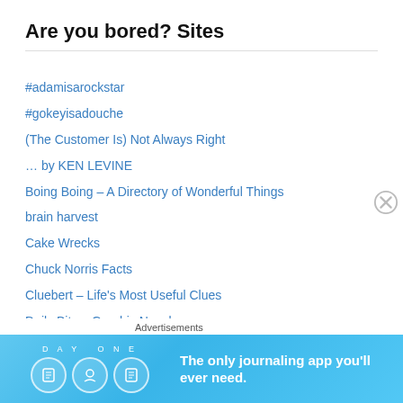Are you bored? Sites
#adamisarockstar
#gokeyisadouche
(The Customer Is) Not Always Right
… by KEN LEVINE
Boing Boing – A Directory of Wonderful Things
brain harvest
Cake Wrecks
Chuck Norris Facts
Cluebert – Life's Most Useful Clues
Daily Bits – Graphic Novels
FictionPress.com – let the words flow
Funny or Die (Exclusive Videos)
KRADAM
Lady Gaga Fan Site
Advertisements
[Figure (infographic): Day One journaling app advertisement banner with blue background, app icons, and text 'The only journaling app you'll ever need.']